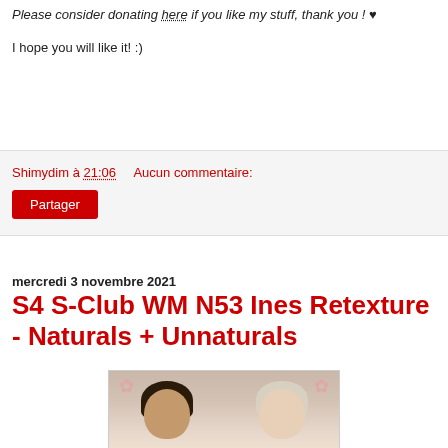Please consider donating here if you like my stuff, thank you ! ♥
I hope you will like it! :)
Shimydim à 21:06    Aucun commentaire:
Partager
mercredi 3 novembre 2021
S4 S-Club WM N53 Ines Retexture - Naturals + Unnaturals
[Figure (photo): Two Sims 4 female characters showing different hair colors - one with dark brown braided hair and one with light/white updo hair, both with pink floral corner decorations]